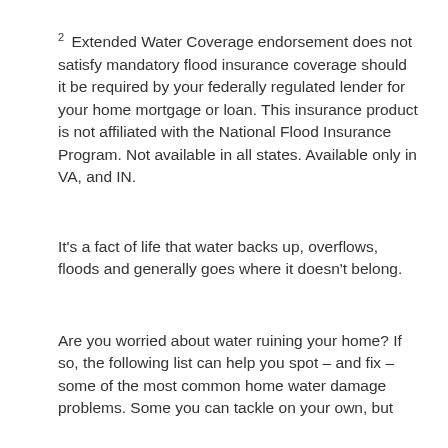2 Extended Water Coverage endorsement does not satisfy mandatory flood insurance coverage should it be required by your federally regulated lender for your home mortgage or loan. This insurance product is not affiliated with the National Flood Insurance Program. Not available in all states. Available only in VA, and IN.
It’s a fact of life that water backs up, overflows, floods and generally goes where it doesn’t belong.
Are you worried about water ruining your home? If so, the following list can help you spot – and fix – some of the most common home water damage problems. Some you can tackle on your own, but